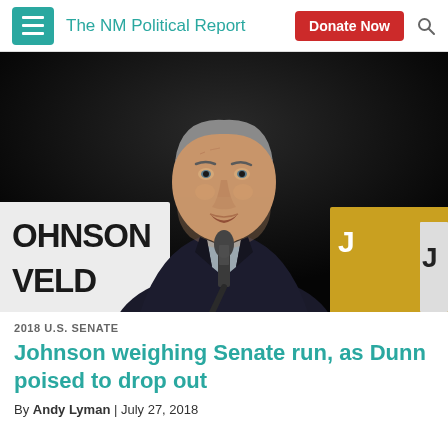The NM Political Report
[Figure (photo): A man in a dark suit speaking at a microphone. Behind him are campaign signs reading JOHNSON and WELD. The man is Gary Johnson, looking upward.]
2018 U.S. SENATE
Johnson weighing Senate run, as Dunn poised to drop out
By Andy Lyman | July 27, 2018